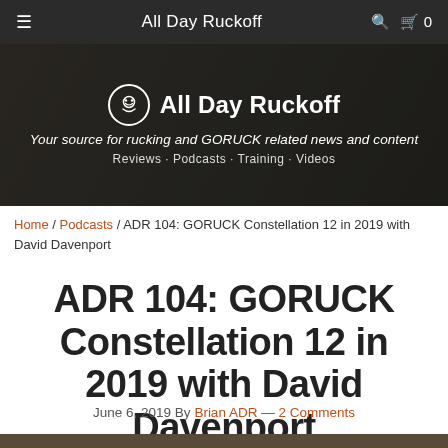≡   All Day Ruckoff   🔍  🛒 0
[Figure (illustration): Hero banner with dark overlay showing All Day Ruckoff logo (circular icon with face) and site name, tagline 'Your source for rucking and GORUCK related news and content', subnav 'Reviews · Podcasts · Training · Videos']
Home / Podcasts / ADR 104: GORUCK Constellation 12 in 2019 with David Davenport
ADR 104: GORUCK Constellation 12 in 2019 with David Davenport
June 6, 2019 By Brian ADR — 2 Comments